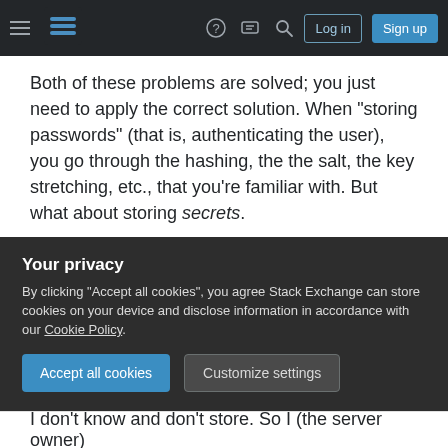Stack Exchange navigation bar with hamburger menu, logo, help, chat, search icons, and Log in / Sign up buttons
Both of these problems are solved; you just need to apply the correct solution. When "storing passwords" (that is, authenticating the user), you go through the hashing, the the salt, the key stretching, etc., that you're familiar with. But what about storing secrets.
First and foremost, you avoid the problem if possible. This is why concepts like API access tokens exist. You don't need my Facebook password because you can't use it. You need an
Your privacy
By clicking "Accept all cookies", you agree Stack Exchange can store cookies on your device and disclose information in accordance with our Cookie Policy.
Accept all cookies   Customize settings
I don't know and don't store. So I (the server owner)